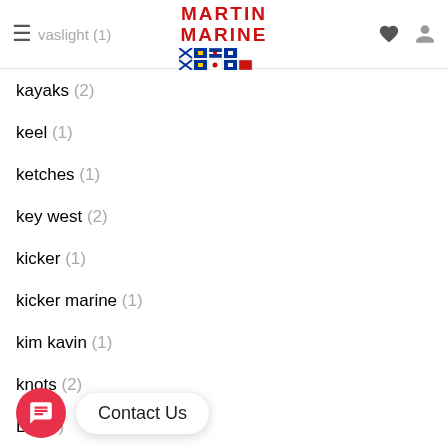Martin Marine - navigation header with logo and icons
kayaks (2)
keel (1)
ketches (1)
key west (2)
kicker (1)
kicker marine (1)
kim kavin (1)
knots (2)
Las... (3)
lamb... (1)
Contact Us